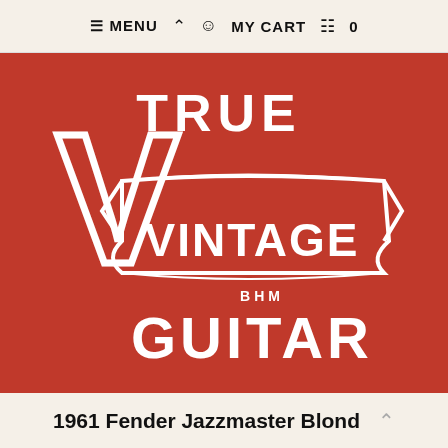≡ MENU  🏠  👤  MY CART  🛒  0
[Figure (logo): True Vintage Guitar BHM logo — white text on red background. Large stylized 'V' on left, 'TRUE' above in bold serif caps, 'VINTAGE' across a ribbon banner in bold serif caps, 'BHM' small below the ribbon, 'GUITAR' at the bottom in bold serif caps.]
1961 Fender Jazzmaster Blond